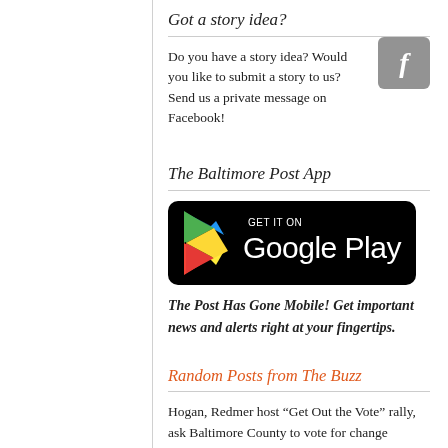Got a story idea?
Do you have a story idea? Would you like to submit a story to us? Send us a private message on Facebook!
[Figure (logo): Facebook logo button - grey rounded square with white italic f]
The Baltimore Post App
[Figure (logo): Get it on Google Play badge - black rounded rectangle with Google Play triangle logo and text]
The Post Has Gone Mobile! Get important news and alerts right at your fingertips.
Random Posts from The Buzz
Hogan, Redmer host “Get Out the Vote” rally, ask Baltimore County to vote for change (video)